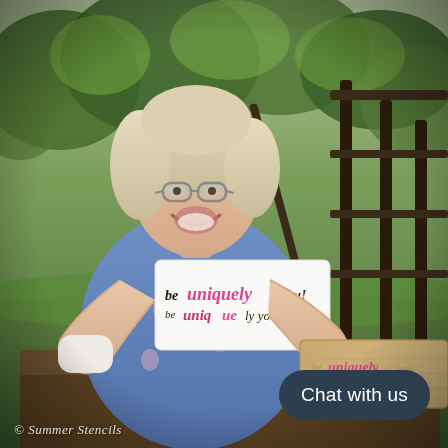[Figure (photo): A smiling middle-aged woman with blonde hair and glasses, wearing a blue denim jacket with floral accents. She is sitting outdoors on steps near a dark wood railing, holding up two craft stencil signs that read 'be uniquely you!' — one on white cardstock and one on a natural wood plank painted in pink. Green trees and grass are visible in the background.]
© Summer Stencils
Chat with us